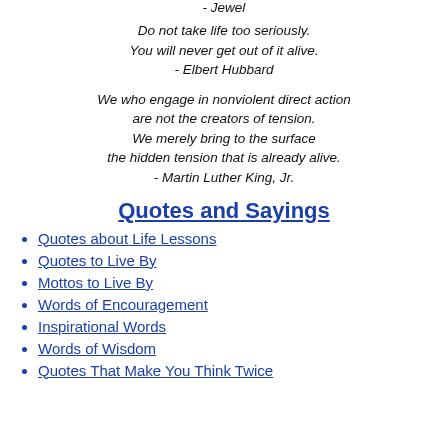- Jewel
Do not take life too seriously.
You will never get out of it alive.
- Elbert Hubbard
We who engage in nonviolent direct action are not the creators of tension.
We merely bring to the surface the hidden tension that is already alive.
- Martin Luther King, Jr.
Quotes and Sayings
Quotes about Life Lessons
Quotes to Live By
Mottos to Live By
Words of Encouragement
Inspirational Words
Words of Wisdom
Quotes That Make You Think Twice